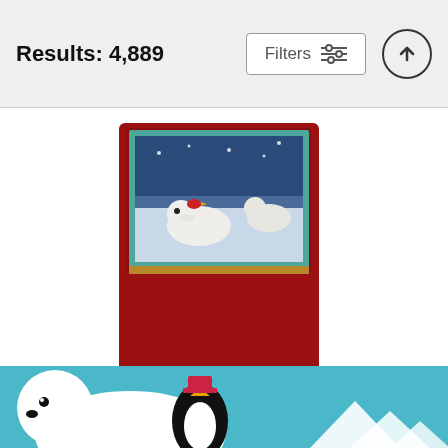Results: 4,889
Filters
[Figure (photo): Red yoga mat with polar bear winter scene artwork at top, displayed against white background with slight shadow]
Polar Magic Yoga Mat
Lynn Bywaters
$60 (strikethrough original price)
$48
[Figure (photo): Partial view of another product showing a polar bear and penguin illustration on teal background with white mountains, cut off at bottom of page]